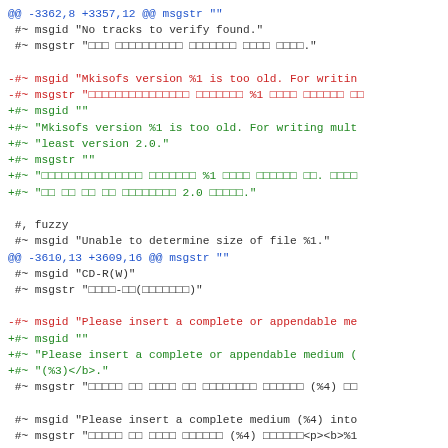@@ -3362,8 +3357,12 @@ msgstr ""
 #~ msgid "No tracks to verify found."
 #~ msgstr "□□□ □□□□□□□□□□ □□□□□□□ □□□□ □□□□."

-#~ msgid "Mkisofs version %1 is too old. For writin
-#~ msgstr "□□□□□□□□□□□□□□□ □□□□□□□ %1 □□□□ □□□□□□ □□
+#~ msgid ""
+#~ "Mkisofs version %1 is too old. For writing mult
+#~ "least version 2.0."
+#~ msgstr ""
+#~ "□□□□□□□□□□□□□□□ □□□□□□□ %1 □□□□ □□□□□□ □□. □□□□
+#~ "□□ □□ □□ □□ □□□□□□□□ 2.0 □□□□□."

 #, fuzzy
 #~ msgid "Unable to determine size of file %1."
@@ -3610,13 +3609,16 @@ msgstr ""
 #~ msgid "CD-R(W)"
 #~ msgstr "□□□□-□□(□□□□□□□)"

-#~ msgid "Please insert a complete or appendable me
+#~ msgid ""
+#~ "Please insert a complete or appendable medium (
+#~ "(%3)</b>."
 #~ msgstr "□□□□□ □□ □□□□ □□ □□□□□□□□ □□□□□□ (%4) □□

 #~ msgid "Please insert a complete medium (%4) into
 #~ msgstr "□□□□□ □□ □□□□ □□□□□□ (%4) □□□□□□<p><b>%1

-#~ msgid "Please insert an appendable medium (%4) i
+#~ msgid ""